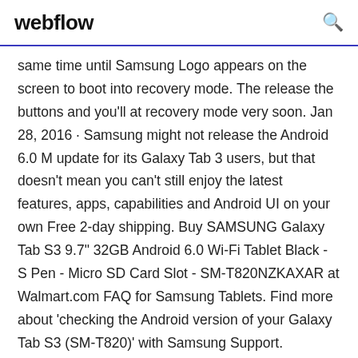webflow
same time until Samsung Logo appears on the screen to boot into recovery mode. The release the buttons and you'll at recovery mode very soon. Jan 28, 2016 · Samsung might not release the Android 6.0 M update for its Galaxy Tab 3 users, but that doesn't mean you can't still enjoy the latest features, apps, capabilities and Android UI on your own Free 2-day shipping. Buy SAMSUNG Galaxy Tab S3 9.7" 32GB Android 6.0 Wi-Fi Tablet Black - S Pen - Micro SD Card Slot - SM-T820NZKAXAR at Walmart.com FAQ for Samsung Tablets. Find more about 'checking the Android version of your Galaxy Tab S3 (SM-T820)' with Samsung Support.